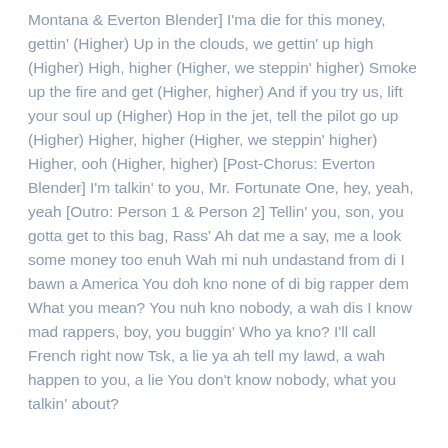Montana & Everton Blender] I'ma die for this money, gettin' (Higher) Up in the clouds, we gettin' up high (Higher) High, higher (Higher, we steppin' higher) Smoke up the fire and get (Higher, higher) And if you try us, lift your soul up (Higher) Hop in the jet, tell the pilot go up (Higher) Higher, higher (Higher, we steppin' higher) Higher, ooh (Higher, higher) [Post-Chorus: Everton Blender] I'm talkin' to you, Mr. Fortunate One, hey, yeah, yeah [Outro: Person 1 & Person 2] Tellin' you, son, you gotta get to this bag, Rass' Ah dat me a say, me a look some money too enuh Wah mi nuh undastand from di I bawn a America You doh kno none of di big rapper dem What you mean? You nuh kno nobody, a wah dis I know mad rappers, boy, you buggin' Who ya kno? I'll call French right now Tsk, a lie ya ah tell my lawd, a wah happen to you, a lie You don't know nobody, what you talkin' about?